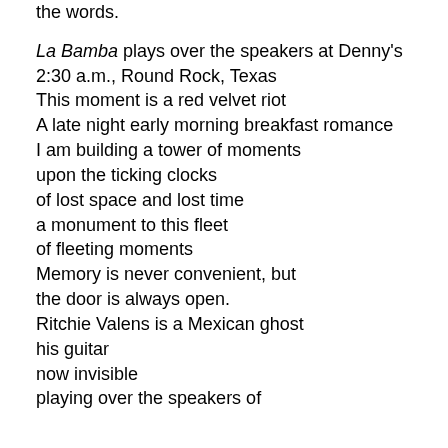the words.
La Bamba plays over the speakers at Denny's
2:30 a.m., Round Rock, Texas
This moment is a red velvet riot
A late night early morning breakfast romance
I am building a tower of moments
upon the ticking clocks
of lost space and lost time
a monument to this fleet
of fleeting moments
Memory is never convenient, but
the door is always open.
Ritchie Valens is a Mexican ghost
his guitar
now invisible
playing over the speakers of